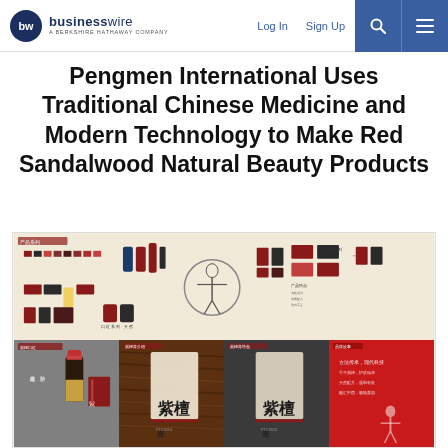businesswire — A BERKSHIRE HATHAWAY COMPANY | Log In | Sign Up
Pengmen International Uses Traditional Chinese Medicine and Modern Technology to Make Red Sandalwood Natural Beauty Products
[Figure (photo): Product infographic showing red sandalwood natural beauty products by Pengmen International, including lipstick, skincare packaging with Chinese characters (紫檀膏), and product line diagrams with Traditional Chinese Medicine references. The image shows a beige top half with product diagrams and a darker bottom half divided into four sections showing product photography.]